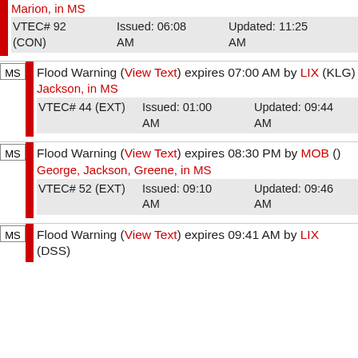Marion, in MS
VTEC# 92 (CON) Issued: 06:08 AM Updated: 11:25 AM
Flood Warning (View Text) expires 07:00 AM by LIX (KLG)
Jackson, in MS
VTEC# 44 (EXT) Issued: 01:00 AM Updated: 09:44 AM
Flood Warning (View Text) expires 08:30 PM by MOB ()
George, Jackson, Greene, in MS
VTEC# 52 (EXT) Issued: 09:10 AM Updated: 09:46 AM
Flood Warning (View Text) expires 09:41 AM by LIX (DSS)